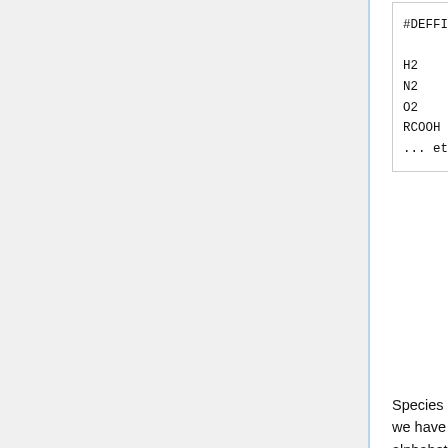[Figure (screenshot): Code block showing #DEFFIX section with H2, N2, O2, RCOOH set to IGNORE with molecular definitions, followed by ... etc ...]
Species may be listed in any order, but we have found it convenient to list them alphabetically.
Adding reactions to a chemical mechanism
List all of the chemical reactions in your mechanism to the #EQUATIONS section of custom.eqn. List species in this order: (1) gas-phase; (2) heterogeneous chemistry, as shown below:
1. Gas-Phase Reactions